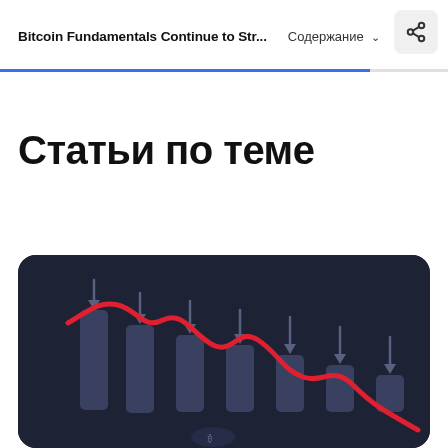Bitcoin Fundamentals Continue to Str...  Содержание
Статьи по теме
[Figure (illustration): Dark-themed illustration showing a downward-trending red line chart with dark grey bar chart columns all pointing downward with arrows, set against a dark navy background. Represents a bearish crypto/bitcoin market.]